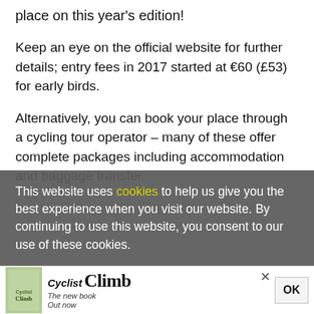place on this year's edition!
Keep an eye on the official website for further details; entry fees in 2017 started at €60 (£53) for early birds.
Alternatively, you can book your place through a cycling tour operator – many of these offer complete packages including accommodation and baggage transfer.
For example, Sports Tours International off...
This website uses cookies to help us give you the best experience when you visit our website. By continuing to use this website, you consent to our use of these cookies.
[Figure (other): Advertisement banner for 'Cyclist Climb' book with book cover image, title, and 'The new book Out now' tagline, with an OK button and close X button]